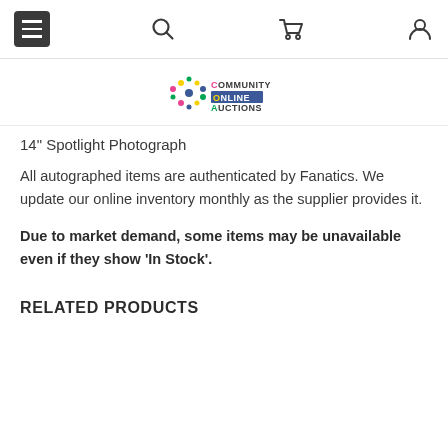Navigation bar with hamburger menu, search, cart, and account icons; Community Online Auctions logo
14" Spotlight Photograph
All autographed items are authenticated by Fanatics. We update our online inventory monthly as the supplier provides it.
Due to market demand, some items may be unavailable even if they show 'In Stock'.
RELATED PRODUCTS